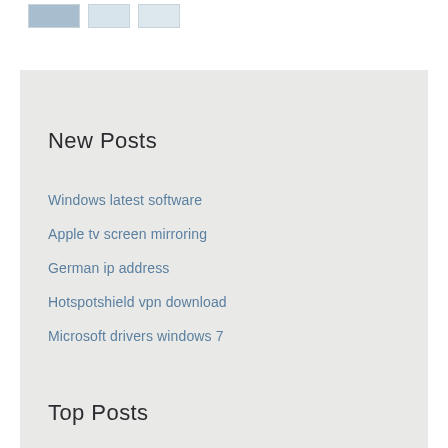[Figure (other): Three small thumbnail image placeholders in a row at the top of the page]
New Posts
Windows latest software
Apple tv screen mirroring
German ip address
Hotspotshield vpn download
Microsoft drivers windows 7
Top Posts